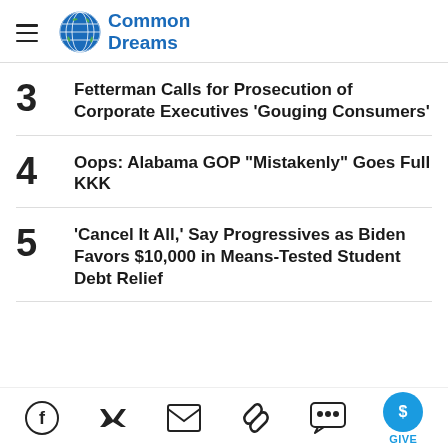Common Dreams
3 Fetterman Calls for Prosecution of Corporate Executives 'Gouging Consumers'
4 Oops: Alabama GOP "Mistakenly" Goes Full KKK
5 'Cancel It All,' Say Progressives as Biden Favors $10,000 in Means-Tested Student Debt Relief
Facebook Twitter Email Link Comment GIVE